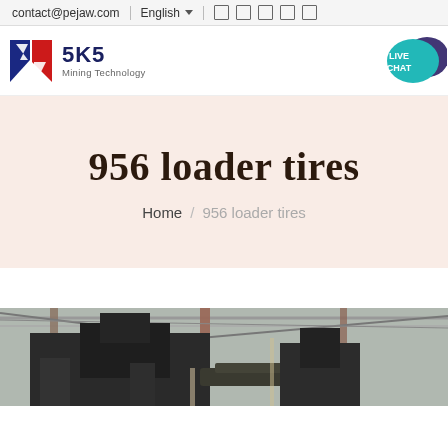contact@pejaw.com  English
[Figure (logo): SKS Mining Technology logo with stylized red and blue S-shaped icon and company name text]
[Figure (infographic): Live Chat speech bubble icon in teal/cyan color]
956 loader tires
Home / 956 loader tires
[Figure (photo): Industrial equipment in warehouse/factory setting, dark machinery visible against metal structure background]